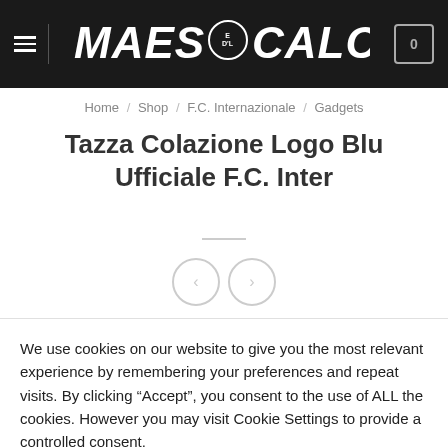MAESTRI DEL CALCIO
Home / Shop / F.C. Internazionale / Gadgets
Tazza Colazione Logo Blu Ufficiale F.C. Inter
[Figure (illustration): Navigation arrows (left and right) inside circular outlines]
We use cookies on our website to give you the most relevant experience by remembering your preferences and repeat visits. By clicking “Accept”, you consent to the use of ALL the cookies. However you may visit Cookie Settings to provide a controlled consent.
Cookie settings    ACCEPT